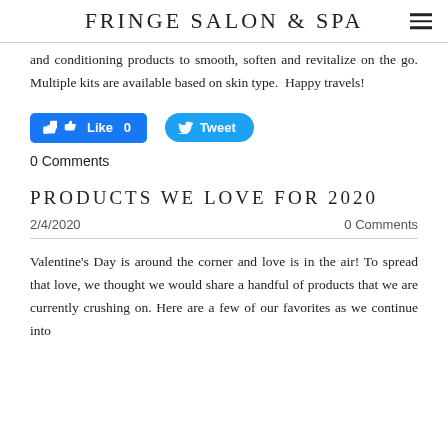FRINGE SALON & SPA
and conditioning products to smooth, soften and revitalize on the go. Multiple kits are available based on skin type.  Happy travels!
[Figure (other): Facebook Like button showing 'Like 0' and Twitter Tweet button]
0 Comments
PRODUCTS WE LOVE FOR 2020
2/4/2020    0 Comments
Valentine's Day is around the corner and love is in the air! To spread that love, we thought we would share a handful of products that we are currently crushing on. Here are a few of our favorites as we continue into